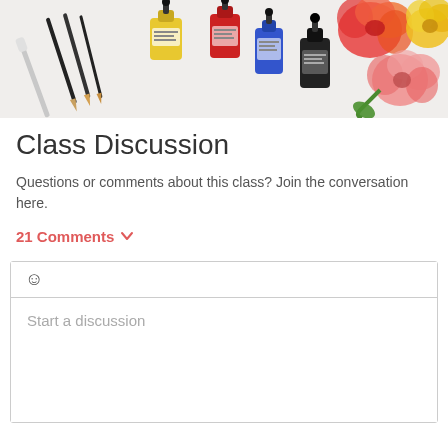[Figure (photo): Photo of art supplies: paint brushes, ink dropper bottles in yellow, red, blue, black, scattered on white surface, with watercolor painted flowers on the right side]
Class Discussion
Questions or comments about this class? Join the conversation here.
21 Comments
Start a discussion